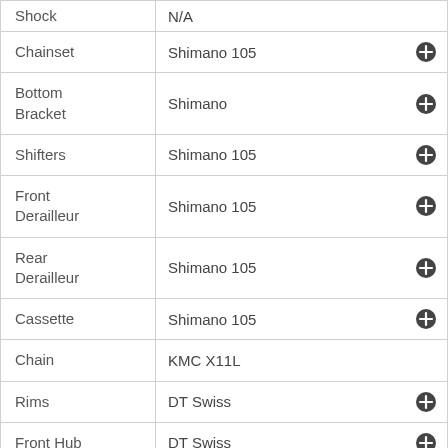| Component | Specification |
| --- | --- |
| Shock | N/A |
| Chainset | Shimano 105 |
| Bottom Bracket | Shimano |
| Shifters | Shimano 105 |
| Front Derailleur | Shimano 105 |
| Rear Derailleur | Shimano 105 |
| Cassette | Shimano 105 |
| Chain | KMC X11L |
| Rims | DT Swiss |
| Front Hub | DT Swiss |
| Rear Hub | DT Swiss |